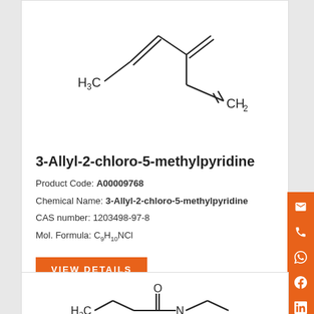[Figure (schematic): Chemical structure of 3-Allyl-2-chloro-5-methylpyridine showing H3C group connected via double bonds to CH2 group]
3-Allyl-2-chloro-5-methylpyridine
Product Code: A00009768
Chemical Name: 3-Allyl-2-chloro-5-methylpyridine
CAS number: 1203498-97-8
Mol. Formula: C9H10NCl
VIEW DETAILS
[Figure (schematic): Partial chemical structure of a second compound showing H3C, N, and carbonyl (O) groups]